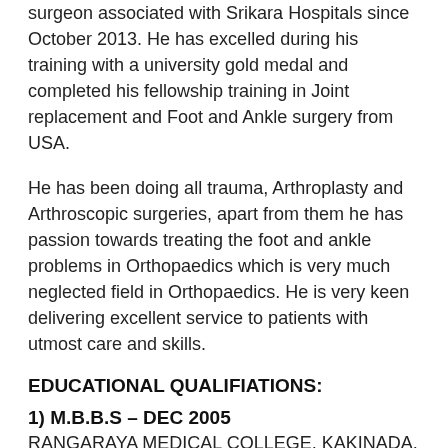surgeon associated with Srikara Hospitals since October 2013. He has excelled during his training with a university gold medal and completed his fellowship training in Joint replacement and Foot and Ankle surgery from USA.
He has been doing all trauma, Arthroplasty and Arthroscopic surgeries, apart from them he has passion towards treating the foot and ankle problems in Orthopaedics which is very much neglected field in Orthopaedics. He is very keen delivering excellent service to patients with utmost care and skills.
EDUCATIONAL QUALIFIATIONS:
1) M.B.B.S – DEC 2005
RANGARAYA MEDICAL COLLEGE, KAKINADA, ANDHRA PRADESH, INDIA, DR.NTR UNIVERSITY OF HEALTH SCIENCES